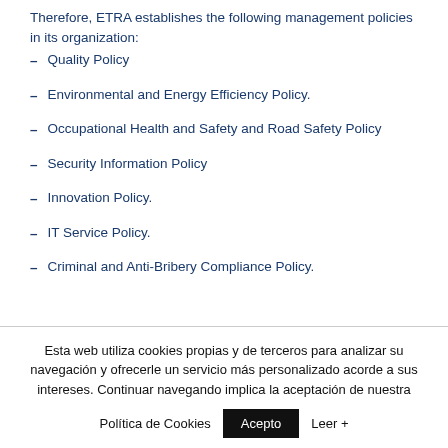Therefore, ETRA establishes the following management policies in its organization:
Quality Policy
Environmental and Energy Efficiency Policy.
Occupational Health and Safety and Road Safety Policy
Security Information Policy
Innovation Policy.
IT Service Policy.
Criminal and Anti-Bribery Compliance Policy.
Esta web utiliza cookies propias y de terceros para analizar su navegación y ofrecerle un servicio más personalizado acorde a sus intereses. Continuar navegando implica la aceptación de nuestra Política de Cookies
Acepto  Leer +